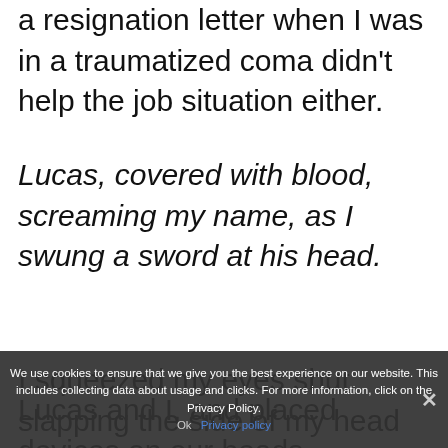a resignation letter when I was in a traumatized coma didn't help the job situation either.
Lucas, covered with blood, screaming my name, as I swung a sword at his head.
I squeezed my eyes shut, slapping the side of my head as if I could knock the memory away.
Lucas and I, and placed devices on our heads, controlling us like
We use cookies to ensure that we give you the best experience on our website. This includes collecting data about usage and clicks. For more information, click on the Privacy Policy.
Ok   Privacy policy